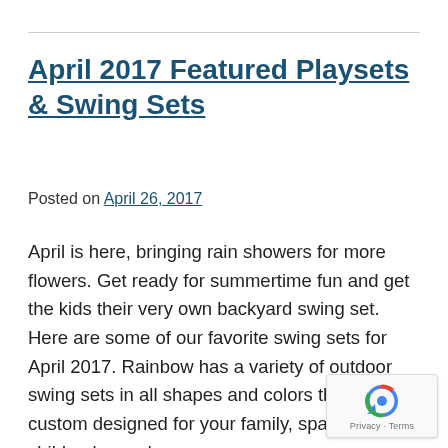April 2017 Featured Playsets & Swing Sets
Posted on April 26, 2017
April is here, bringing rain showers for more flowers. Get ready for summertime fun and get the kids their very own backyard swing set. Here are some of our favorite swing sets for April 2017. Rainbow has a variety of outdoor swing sets in all shapes and colors that can be custom designed for your family, space and children's needs.